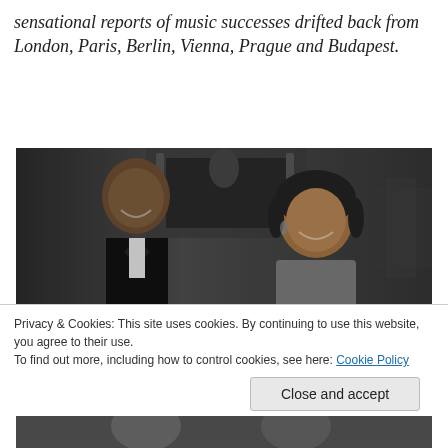sensational reports of music successes drifted back from London, Paris, Berlin, Vienna, Prague and Budapest.
[Figure (photo): Black and white photograph of two people smiling and laughing together at what appears to be a formal event. A man in a tuxedo on the left and a woman in an elegant dress on the right, with a fireplace and decorative items visible in the background.]
Privacy & Cookies: This site uses cookies. By continuing to use this website, you agree to their use.
To find out more, including how to control cookies, see here: Cookie Policy
[Figure (photo): Partial black and white photograph visible at the bottom of the page, showing people at what appears to be an event.]